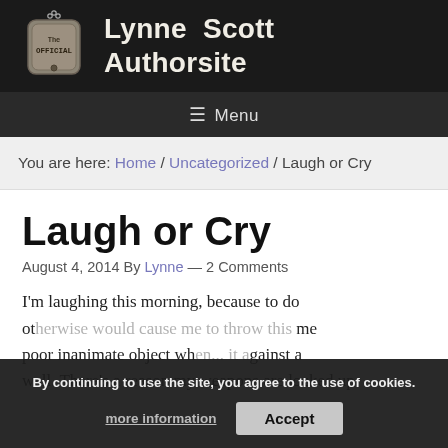[Figure (logo): Military dog tag logo with text 'The OFFICIAL' and site name 'Lynne Scott Authorsite' beside it on dark background]
≡ Menu
You are here: Home / Uncategorized / Laugh or Cry
Laugh or Cry
August 4, 2014 By Lynne — 2 Comments
I'm laughing this morning, because to do otherwise would cause me to throw this poor inanimate object when... it against a wall. There's a reason my weapons are locked up
By continuing to use the site, you agree to the use of cookies. more information Accept